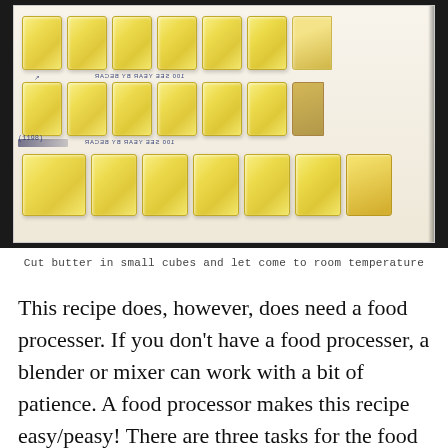[Figure (photo): Overhead photo of butter sticks cut into small cubes arranged in rows on white packaging paper, with blue printed text visible on the wrappers]
Cut butter in small cubes and let come to room temperature
This recipe does, however, does need a food processer. If you don't have a food processer, a blender or mixer can work with a bit of patience. A food processor makes this recipe easy/peasy! There are three tasks for the food processor, including